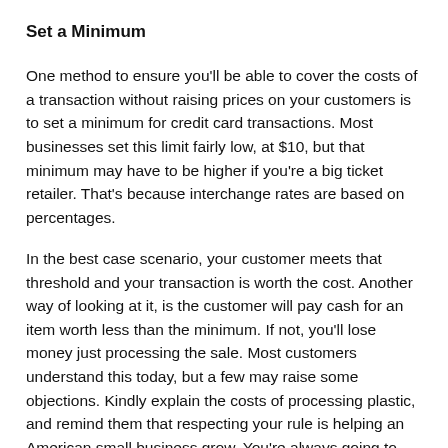Set a Minimum
One method to ensure you'll be able to cover the costs of a transaction without raising prices on your customers is to set a minimum for credit card transactions. Most businesses set this limit fairly low, at $10, but that minimum may have to be higher if you're a big ticket retailer. That's because interchange rates are based on percentages.
In the best case scenario, your customer meets that threshold and your transaction is worth the cost. Another way of looking at it, is the customer will pay cash for an item worth less than the minimum. If not, you'll lose money just processing the sale. Most customers understand this today, but a few may raise some objections. Kindly explain the costs of processing plastic, and remind them that respecting your rule is helping an American small business grow. You're always going to lose grumpy customers, but as long as clearly place signs indicating